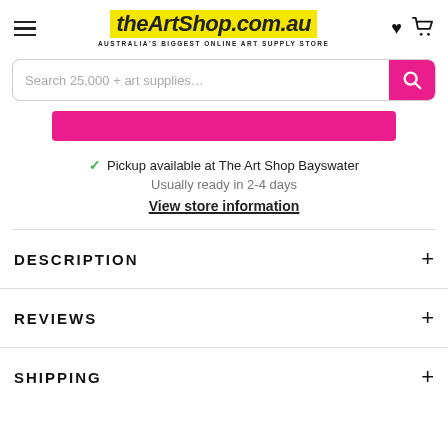theArtShop.com.au — AUSTRALIA'S BIGGEST ONLINE ART SUPPLY STORE
Search 25,000 + art supplies...
Pickup available at The Art Shop Bayswater
Usually ready in 2-4 days
View store information
DESCRIPTION
REVIEWS
SHIPPING